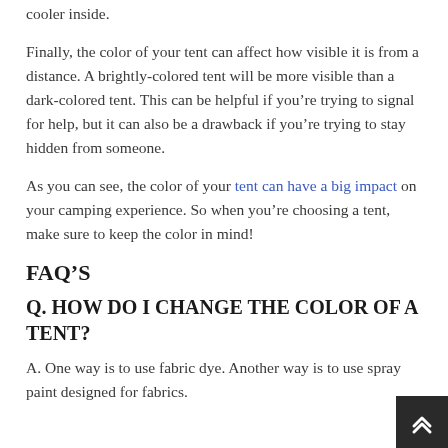cooler inside.
Finally, the color of your tent can affect how visible it is from a distance. A brightly-colored tent will be more visible than a dark-colored tent. This can be helpful if you’re trying to signal for help, but it can also be a drawback if you’re trying to stay hidden from someone.
As you can see, the color of your tent can have a big impact on your camping experience. So when you’re choosing a tent, make sure to keep the color in mind!
FAQ’S
Q. HOW DO I CHANGE THE COLOR OF A TENT?
A. One way is to use fabric dye. Another way is to use spray paint designed for fabrics.